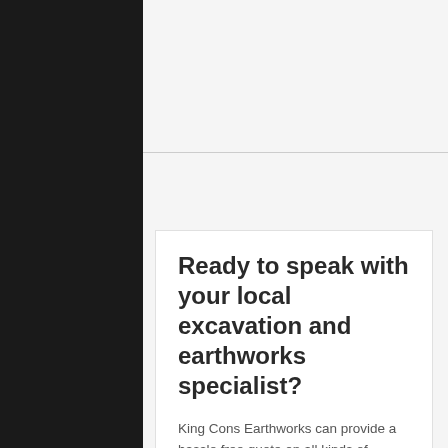Ready to speak with your local excavation and earthworks specialist?
King Cons Earthworks can provide a hassle free quote on all kinds of excavation and earthworks projects, including landscaping. Get in touch with your local Dandenong Earthworks specialist today.